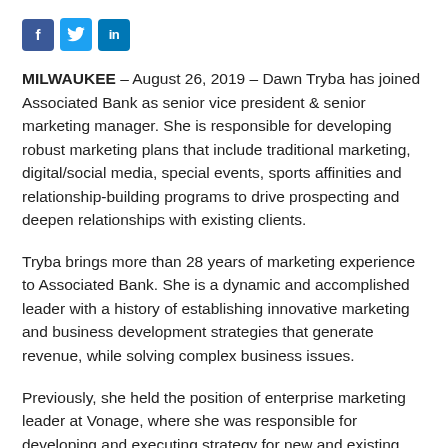[Figure (other): Social media sharing icons: Facebook (f), Twitter (bird), LinkedIn (in)]
MILWAUKEE – August 26, 2019 – Dawn Tryba has joined Associated Bank as senior vice president & senior marketing manager. She is responsible for developing robust marketing plans that include traditional marketing, digital/social media, special events, sports affinities and relationship-building programs to drive prospecting and deepen relationships with existing clients.
Tryba brings more than 28 years of marketing experience to Associated Bank. She is a dynamic and accomplished leader with a history of establishing innovative marketing and business development strategies that generate revenue, while solving complex business issues.
Previously, she held the position of enterprise marketing leader at Vonage, where she was responsible for developing and executing strategy for new and existing